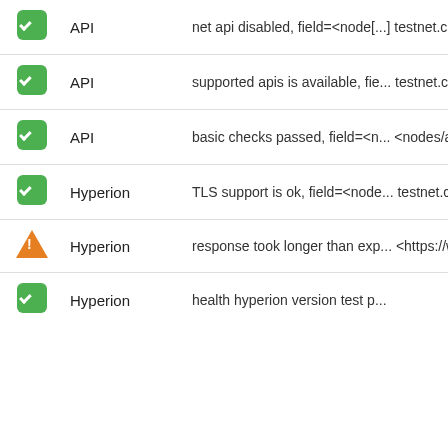| Status | Type | Description |
| --- | --- | --- |
| ✓ | API | net api disabled, field=<node[...] testnet.cryptolions.io/v1/net/co... s>, validated at=<2022-09-05 ... |
| ✓ | API | supported apis is available, fie... testnet.cryptolions.io/v1/node/g... timeout=<10 s>, validated at=<... |
| ✓ | API | basic checks passed, field=<n... <nodes/api_https2>, api_url=<... <0.4 s>, timeout=<2 s>, valida... |
| ✓ | Hyperion | TLS support is ok, field=<node... testnet.cryptolions.io>, elapsed... 09-05 01:48 UTC>, validated e... |
| ⚠ | Hyperion | response took longer than exp... <https://wax-testnet.cryptolions... <10 s>, validated at=<2022-09... |
| ✓ | Hyperion | health hyperion version test p... |